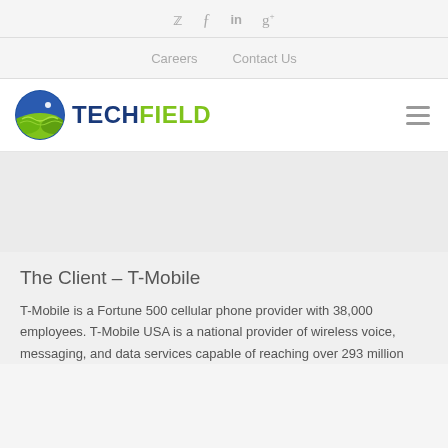Social icons: Twitter, Facebook, LinkedIn, Google+
Careers  Contact Us
[Figure (logo): TechField logo with circular green and blue icon showing landscape/field, with TECH in dark blue and FIELD in green]
The Client – T-Mobile
T-Mobile is a Fortune 500 cellular phone provider with 38,000 employees. T-Mobile USA is a national provider of wireless voice, messaging, and data services capable of reaching over 293 million